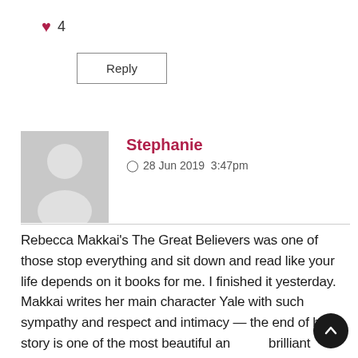♥ 4
Reply
[Figure (illustration): User avatar placeholder — grey silhouette of a person on a grey background]
Stephanie
28 Jun 2019  3:47pm
Rebecca Makkai's The Great Believers was one of those stop everything and sit down and read like your life depends on it books for me. I finished it yesterday. Makkai writes her main character Yale with such sympathy and respect and intimacy — the end of his story is one of the most beautiful and brilliant things I think I've ever read.